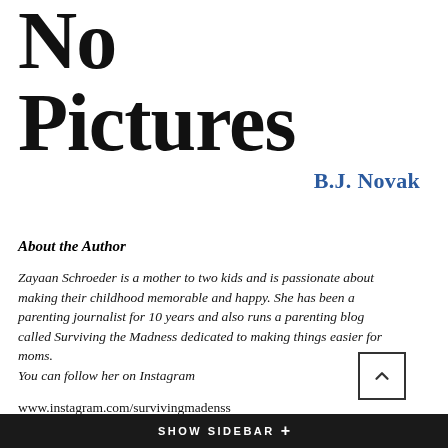No Pictures
B.J. Novak
About the Author
Zayaan Schroeder is a mother to two kids and is passionate about making their childhood memorable and happy. She has been a parenting journalist for 10 years and also runs a parenting blog called Surviving the Madness dedicated to making things easier for moms.
You can follow her on Instagram
www.instagram.com/survivingmadenss
SHOW SIDEBAR +